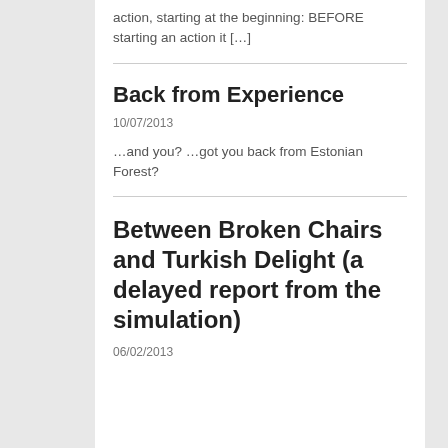action, starting at the beginning: BEFORE starting an action it […]
Back from Experience
10/07/2013
…and you? …got you back from Estonian Forest?
Between Broken Chairs and Turkish Delight (a delayed report from the simulation)
06/02/2013